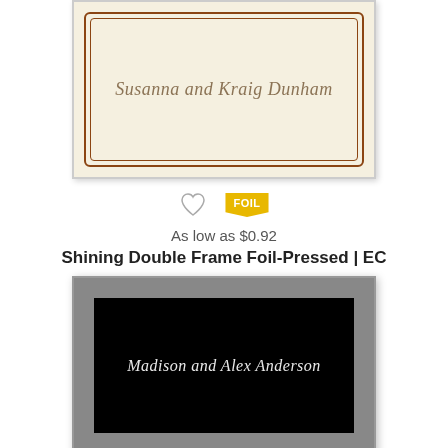[Figure (illustration): Cream colored business card with double brown decorative frame border and script text reading 'Susanna and Kraig Dunham']
[Figure (illustration): Gold foil badge with text 'FOIL' and a heart/favorite icon]
As low as $0.92
Shining Double Frame Foil-Pressed | EC
[Figure (illustration): Dark black business card with silver/grey border frame and silver script text reading 'Madison and Alex Anderson']